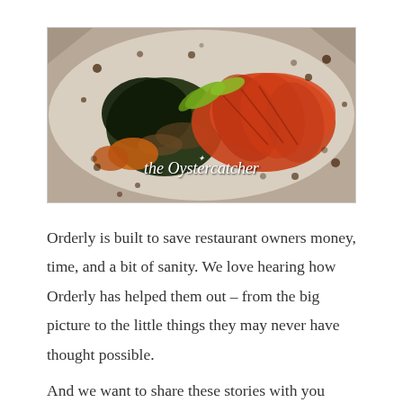[Figure (photo): A plated fine dining dish with roasted meat slices, dark leafy greens (wilted spinach), mushrooms, orange root vegetable pieces, and light green herb garnish on a white plate with dark sauce dots. Overlaid with the restaurant logo text 'the Oystercatcher' in white italic script with a bird icon.]
Orderly is built to save restaurant owners money, time, and a bit of sanity. We love hearing how Orderly has helped them out – from the big picture to the little things they may never have thought possible.
And we want to share these stories with you